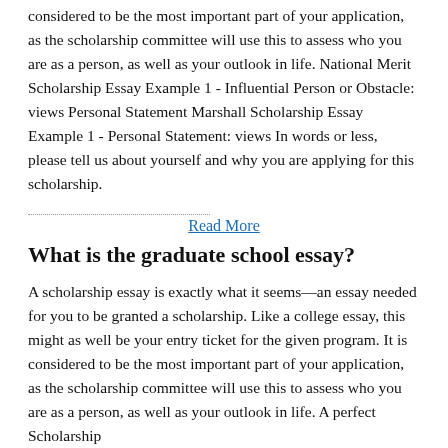considered to be the most important part of your application, as the scholarship committee will use this to assess who you are as a person, as well as your outlook in life. National Merit Scholarship Essay Example 1 - Influential Person or Obstacle: views Personal Statement Marshall Scholarship Essay Example 1 - Personal Statement: views In words or less, please tell us about yourself and why you are applying for this scholarship.
Read More
What is the graduate school essay?
A scholarship essay is exactly what it seems—an essay needed for you to be granted a scholarship. Like a college essay, this might as well be your entry ticket for the given program. It is considered to be the most important part of your application, as the scholarship committee will use this to assess who you are as a person, as well as your outlook in life. A perfect Scholarship